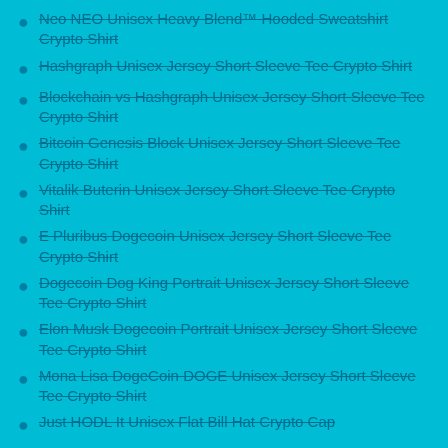Neo NEO Unisex Heavy Blend™ Hooded Sweatshirt Crypto Shirt
Hashgraph Unisex Jersey Short Sleeve Tee Crypto Shirt
Blockchain vs Hashgraph Unisex Jersey Short Sleeve Tee Crypto Shirt
Bitcoin Genesis Block Unisex Jersey Short Sleeve Tee Crypto Shirt
Vitalik Buterin Unisex Jersey Short Sleeve Tee Crypto Shirt
E Pluribus Dogecoin Unisex Jersey Short Sleeve Tee Crypto Shirt
Dogecoin Dog King Portrait Unisex Jersey Short Sleeve Tee Crypto Shirt
Elon Musk Dogecoin Portrait Unisex Jersey Short Sleeve Tee Crypto Shirt
Mona Lisa DogeCoin DOGE Unisex Jersey Short Sleeve Tee Crypto Shirt
Just HODL It Unisex Flat Bill Hat Crypto Cap
Just HODL It Unisex Heavy Blend™ Hooded Sweatshirt Crypto Shirts
Just HODL It Unisex Heavy Cotton Tee Crypto T-Shirt
Sushiswap SUSHI Unisex Heavy Blend™ Hooded Sweatshirt Crypto Shirts
Loom Network LOOM Chain Crypto Coin Unisex Trucker Hat